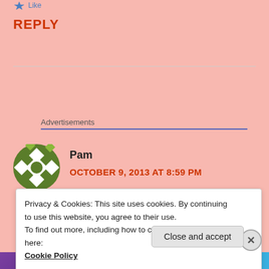[Figure (illustration): Small star/like icon with 'Like' text link in blue]
REPLY
Advertisements
[Figure (illustration): Green diamond-pattern circle avatar for user Pam]
Pam
OCTOBER 9, 2013 AT 8:59 PM
Privacy & Cookies: This site uses cookies. By continuing to use this website, you agree to their use.
To find out more, including how to control cookies, see here:
Cookie Policy
Close and accept